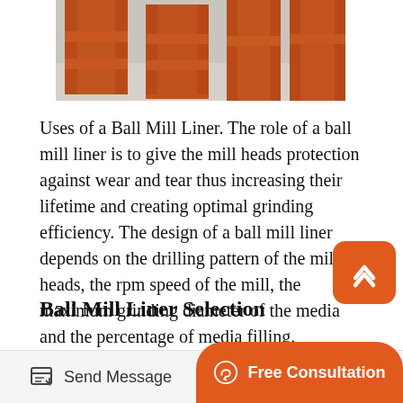[Figure (photo): Photograph of red-painted industrial ball mill frame/structure on a concrete surface outdoors, partially visible at top.]
Uses of a Ball Mill Liner. The role of a ball mill liner is to give the mill heads protection against wear and tear thus increasing their lifetime and creating optimal grinding efficiency. The design of a ball mill liner depends on the drilling pattern of the mill heads, the rpm speed of the mill, the maximum grinding diameter of the media and the percentage of media filling.
Ball Mill Liner Selection
Dec 19, 2017 The present work was undertaken to